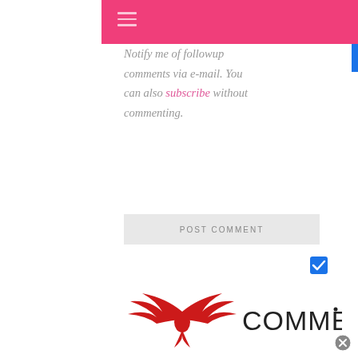[Figure (screenshot): Pink navigation header bar with hamburger menu icon (three horizontal lines)]
Notify me of followup comments via e-mail. You can also subscribe without commenting.
[Figure (screenshot): POST COMMENT button with light gray background]
[Figure (screenshot): Blue checkbox (checked) for subscription option]
[Figure (logo): Commento logo: red phoenix/eagle wings with COMMEN text in dark lettering]
[Figure (screenshot): Gray close circle button at bottom right]